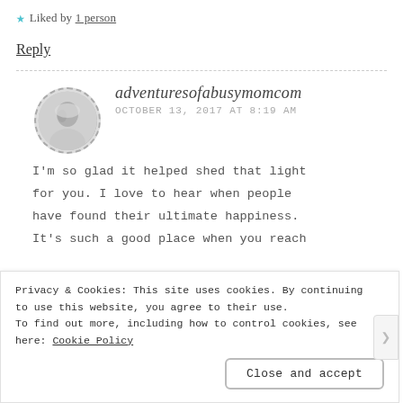★ Liked by 1 person
Reply
[Figure (photo): Black and white circular avatar photo of a woman with short light hair, bordered by a dashed circle]
adventuresofabusymomcom
OCTOBER 13, 2017 AT 8:19 AM
I'm so glad it helped shed that light for you. I love to hear when people have found their ultimate happiness. It's such a good place when you reach
Privacy & Cookies: This site uses cookies. By continuing to use this website, you agree to their use.
To find out more, including how to control cookies, see here: Cookie Policy
Close and accept